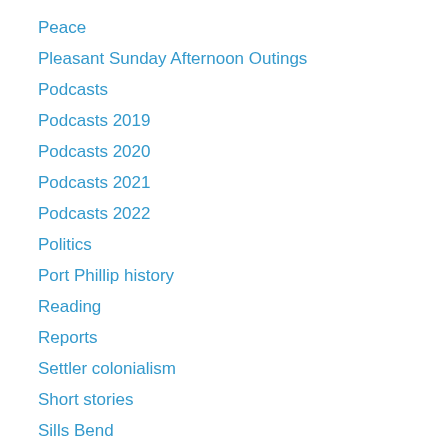Peace
Pleasant Sunday Afternoon Outings
Podcasts
Podcasts 2019
Podcasts 2020
Podcasts 2021
Podcasts 2022
Politics
Port Phillip history
Reading
Reports
Settler colonialism
Short stories
Sills Bend
Six Degrees
Six degrees of separation between Judge Willis and …
Slavery
Sources
Spanish Film Festival 2021
Spanish Films